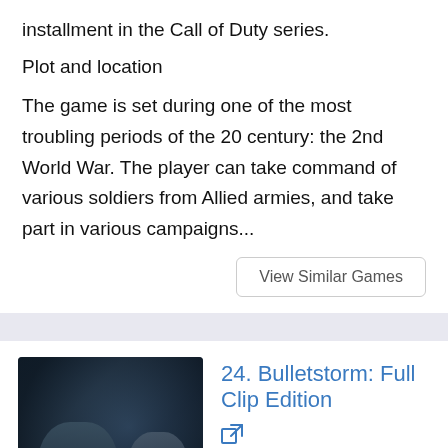installment in the Call of Duty series.
Plot and location
The game is set during one of the most troubling periods of the 20 century: the 2nd World War. The player can take command of various soldiers from Allied armies, and take part in various campaigns...
View Similar Games
24. Bulletstorm: Full Clip Edition
[Figure (photo): Two figures in dark sci-fi setting, game cover art for Bulletstorm: Full Clip Edition]
Developer: Adventure , Action,
Platform:  PC,  PlayStation 4,
Step into the boots of Grayson Hunt after a crash